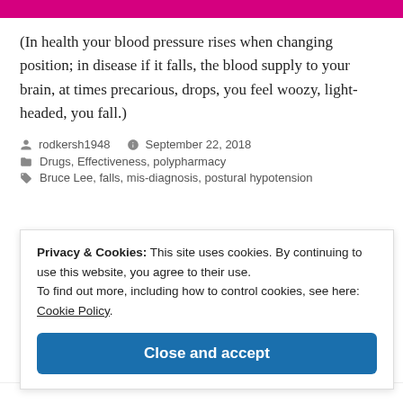[Figure (other): Magenta/pink decorative header bar]
(In health your blood pressure rises when changing position; in disease if it falls, the blood supply to your brain, at times precarious, drops, you feel woozy, light-headed, you fall.)
rodkersh1948  September 22, 2018
Drugs, Effectiveness, polypharmacy
Bruce Lee, falls, mis-diagnosis, postural hypotension
Privacy & Cookies: This site uses cookies. By continuing to use this website, you agree to their use.
To find out more, including how to control cookies, see here: Cookie Policy